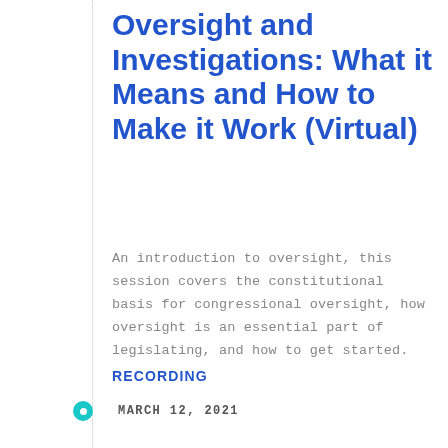Oversight and Investigations: What it Means and How to Make it Work (Virtual)
An introduction to oversight, this session covers the constitutional basis for congressional oversight, how oversight is an essential part of legislating, and how to get started.
RECORDING
MARCH 12, 2021